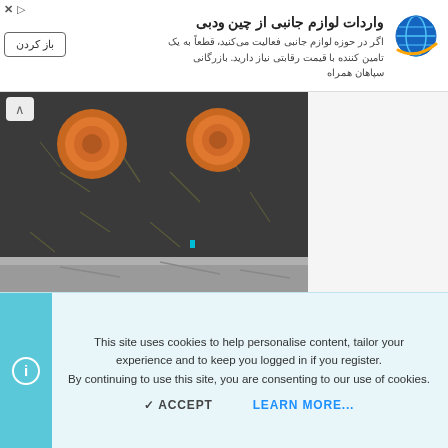[Figure (screenshot): Advertisement banner in Persian/Farsi for importing accessories from China (واردات لوازم جانبی از چین ودبی), with a button labeled باز کردن (Open) and a globe/laptop logo]
[Figure (photo): Close-up photo of two orange rubber grommets/plugs on a dark textured surface (asphalt/rubber mat) with a metal ledge at the bottom]
MikeK
This site uses cookies to help personalise content, tailor your experience and to keep you logged in if you register. By continuing to use this site, you are consenting to our use of cookies.
✓ ACCEPT   LEARN MORE...